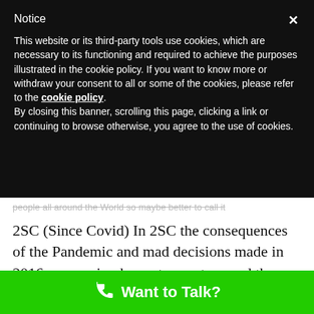Notice
This website or its third-party tools use cookies, which are necessary to its functioning and required to achieve the purposes illustrated in the cookie policy. If you want to know more or withdraw your consent to all or some of the cookies, please refer to the cookie policy.
By closing this banner, scrolling this page, clicking a link or continuing to browse otherwise, you agree to the use of cookies.
people all around the World so maybe better to call it
2SC (Since Covid) In 2SC the consequences of the Pandemic and mad decisions made in 2016 are coming home to roost around the World but today we are going to compare Valencia with two places that made especially mad decisions in 2016, the UK and
Want to Talk?